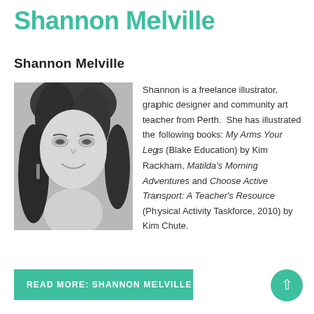Shannon Melville
Shannon Melville
[Figure (photo): Black and white portrait photo of Shannon Melville, a woman with shoulder-length hair, smiling, wearing earrings.]
Shannon is a freelance illustrator, graphic designer and community art teacher from Perth. She has illustrated the following books: My Arms Your Legs (Blake Education) by Kim Rackham, Matilda's Morning Adventures and Choose Active Transport: A Teacher's Resource (Physical Activity Taskforce, 2010) by Kim Chute.
READ MORE: SHANNON MELVILLE